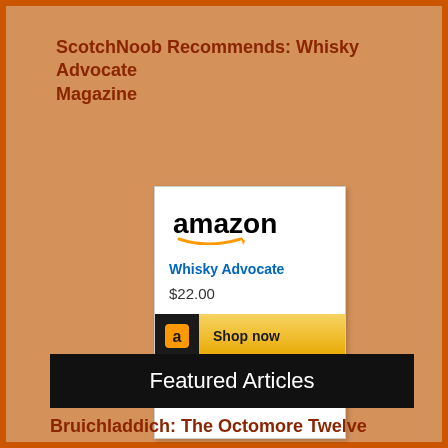ScotchNoob Recommends: Whisky Advocate Magazine
[Figure (screenshot): Amazon widget showing Whisky Advocate magazine product listing with price $22.00 and Shop now button]
Featured Articles
Bruichladdich: The Octomore Twelve